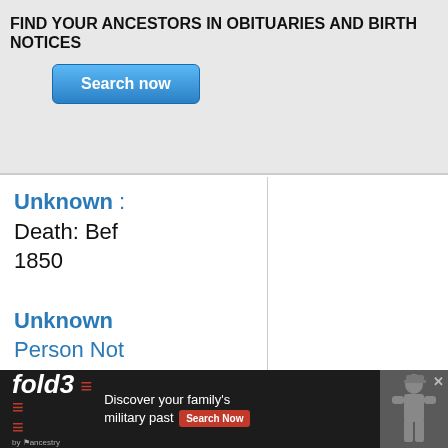FIND YOUR ANCESTORS IN OBITUARIES AND BIRTH NOTICES
[Figure (screenshot): Blue 'Search now' button]
Unknown : Death: Bef 1850
Unknown Person Not Viewable
Unknown : Death: Bef 1856
Unknown : Death: Bef 1860
Person Not Viewable
[Figure (infographic): Fold3 by Ancestry advertisement banner: 'Discover your family's military past' with Search Now button and Civil War soldier photo]